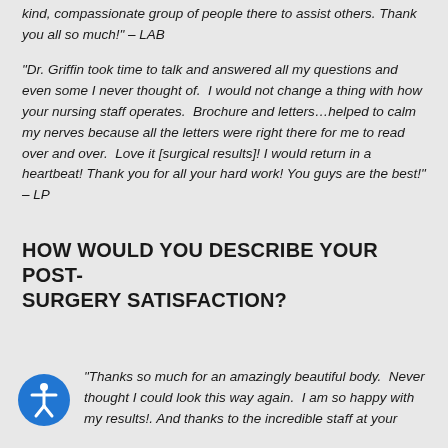kind, compassionate group of people there to assist others. Thank you all so much!" – LAB
"Dr. Griffin took time to talk and answered all my questions and even some I never thought of. I would not change a thing with how your nursing staff operates. Brochure and letters…helped to calm my nerves because all the letters were right there for me to read over and over. Love it [surgical results]! I would return in a heartbeat! Thank you for all your hard work! You guys are the best!" – LP
HOW WOULD YOU DESCRIBE YOUR POST-SURGERY SATISFACTION?
"Thanks so much for an amazingly beautiful body. Never thought I could look this way again. I am so happy with my results!. And thanks to the incredible staff at your...